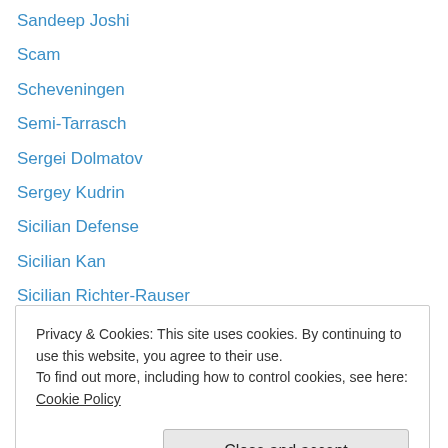Sandeep Joshi
Scam
Scheveningen
Semi-Tarrasch
Sergei Dolmatov
Sergey Kudrin
Sicilian Defense
Sicilian Kan
Sicilian Richter-Rauser
Simon Yelsky
Simone Sobel
Slav Defense
Sleaze East
Smith-Morra (partial)
Privacy & Cookies: This site uses cookies. By continuing to use this website, you agree to their use. To find out more, including how to control cookies, see here: Cookie Policy
Stephen Feinberg